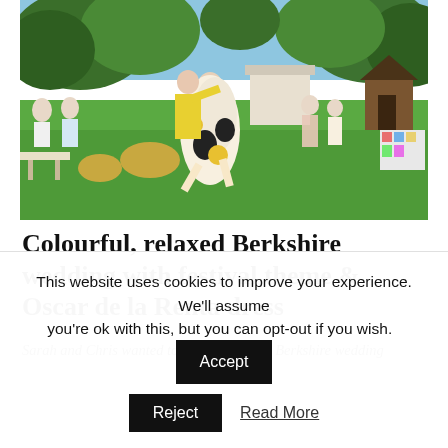[Figure (photo): Outdoor wedding reception photo on a sunny day showing a woman in a colorful black and yellow patterned dress being hugged and lifted by another person in white on a green lawn, with wedding guests and trees in the background]
Colourful, relaxed Berkshire wedding with festival theme & Oscar de la Renta dress
Sarah and Chris wanted to make sure their Berkshire wedding
This website uses cookies to improve your experience. We'll assume you're ok with this, but you can opt-out if you wish. Accept Reject Read More